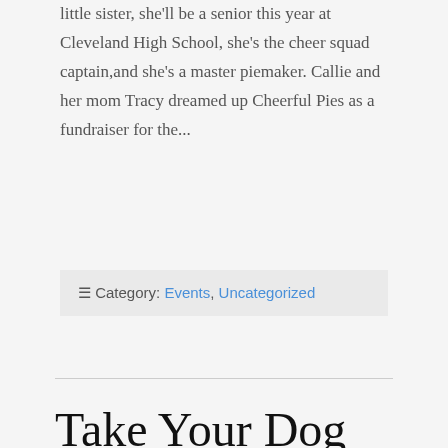little sister, she'll be a senior this year at Cleveland High School, she's the cheer squad captain,and she's a master piemaker. Callie and her mom Tracy dreamed up Cheerful Pies as a fundraiser for the...
≡ Category: Events, Uncategorized
Take Your Dog to Work Day!
Parker with Gus. Our intern Luke brought Gus along with him today. Gus is an 8 week old Border Collie and Lab mix who likes